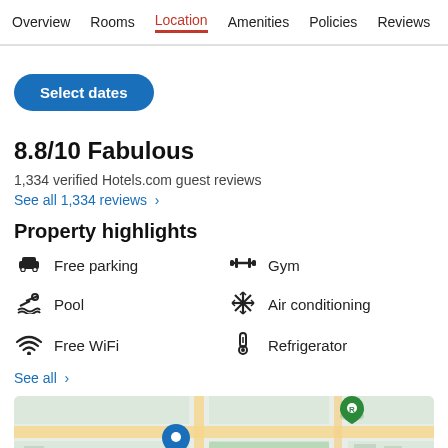Overview  Rooms  Location  Amenities  Policies  Reviews
Select dates
8.8/10 Fabulous
1,334 verified Hotels.com guest reviews
See all 1,334 reviews  >
Property highlights
Free parking
Gym
Pool
Air conditioning
Free WiFi
Refrigerator
See all  >
[Figure (map): Google Maps view showing the hotel location near Big Air Trampoline Park]